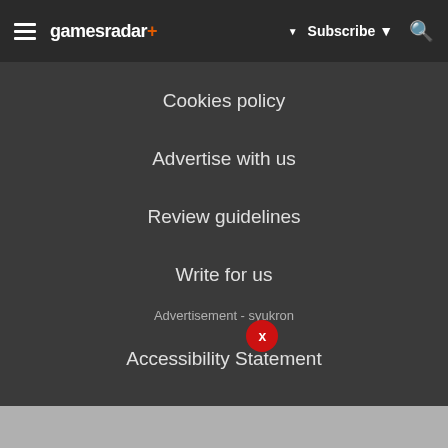gamesradar+  Subscribe
Cookies policy
Advertise with us
Review guidelines
Write for us
Advertisement - syukron
Accessibility Statement
Careers
© Future US, Inc. Full 7th Floor, 130 West 42nd Street, New York, NY 10036.